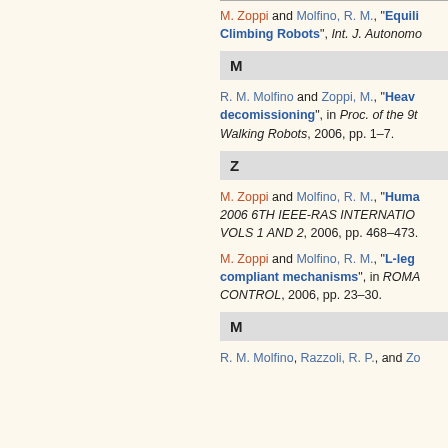M. Zoppi and Molfino, R. M., "Equilib... Climbing Robots", Int. J. Autonomo...
M
R. M. Molfino and Zoppi, M., "Heavy... decomissioning", in Proc. of the 9t... Walking Robots, 2006, pp. 1–7.
Z
M. Zoppi and Molfino, R. M., "Huma... 2006 6TH IEEE-RAS INTERNATIO... VOLS 1 AND 2, 2006, pp. 468–473.
M. Zoppi and Molfino, R. M., "L-legs... compliant mechanisms", in ROMA... CONTROL, 2006, pp. 23–30.
M
R. M. Molfino, Razzoli, R. P., and Zo...